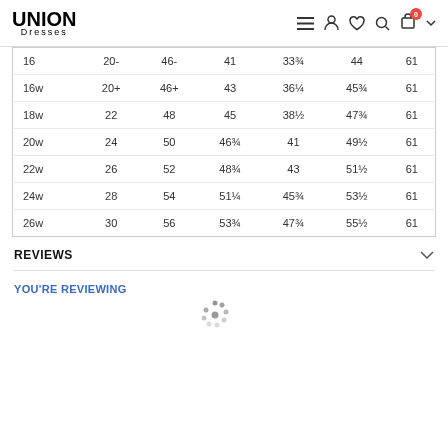UNION Dresses — navigation bar with menu, account, wishlist, search, cart (0)
| 16 | 20- | 46- | 41 | 33¾ | 44 | 61 |
| 16w | 20+ | 46+ | 43 | 36¼ | 45¾ | 61 |
| 18w | 22 | 48 | 45 | 38½ | 47¾ | 61 |
| 20w | 24 | 50 | 46¾ | 41 | 49½ | 61 |
| 22w | 26 | 52 | 48¾ | 43 | 51½ | 61 |
| 24w | 28 | 54 | 51¼ | 45¾ | 53½ | 61 |
| 26w | 30 | 56 | 53¾ | 47¾ | 55½ | 61 |
REVIEWS
YOU'RE REVIEWING